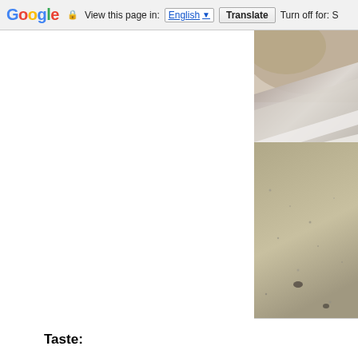Google  View this page in: English  Translate  Turn off for: S
[Figure (photo): Close-up photograph of rocky sandy surface with stones, shot at a shallow depth of field showing textured rock and sand details]
Taste: